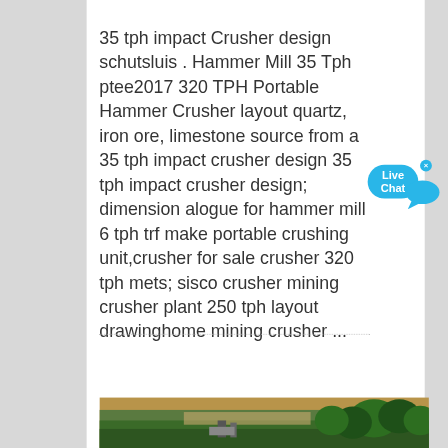35 tph impact Crusher design schutsluis . Hammer Mill 35 Tph ptee2017 320 TPH Portable Hammer Crusher layout quartz, iron ore, limestone source from a 35 tph impact crusher design 35 tph impact crusher design; dimension alogue for hammer mill 6 tph trf make portable crushing unit,crusher for sale crusher 320 tph mets; sisco crusher mining crusher plant 250 tph layout drawinghome mining crusher ...
[Figure (photo): Aerial or elevated view of a mining crusher plant surrounded by green trees and hillside terrain, showing earthworks and heavy equipment.]